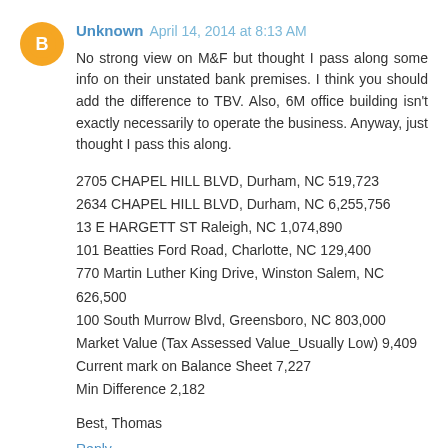[Figure (other): Orange circular Blogger avatar icon with white 'B' letter]
Unknown April 14, 2014 at 8:13 AM
No strong view on M&F but thought I pass along some info on their unstated bank premises. I think you should add the difference to TBV. Also, 6M office building isn't exactly necessarily to operate the business. Anyway, just thought I pass this along.
2705 CHAPEL HILL BLVD, Durham, NC 519,723
2634 CHAPEL HILL BLVD, Durham, NC 6,255,756
13 E HARGETT ST Raleigh, NC 1,074,890
101 Beatties Ford Road, Charlotte, NC 129,400
770 Martin Luther King Drive, Winston Salem, NC 626,500
100 South Murrow Blvd, Greensboro, NC 803,000
Market Value (Tax Assessed Value_Usually Low) 9,409
Current mark on Balance Sheet 7,227
Min Difference 2,182
Best, Thomas
Reply